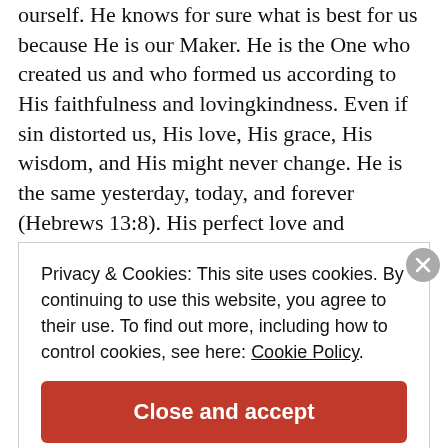ourself. He knows for sure what is best for us because He is our Maker. He is the One who created us and who formed us according to His faithfulness and lovingkindness. Even if sin distorted us, His love, His grace, His wisdom, and His might never change. He is the same yesterday, today, and forever (Hebrews 13:8). His perfect love and faithfulness remain the same even if sin destroyed perfection in humankind. So, whatever
Privacy & Cookies: This site uses cookies. By continuing to use this website, you agree to their use. To find out more, including how to control cookies, see here: Cookie Policy
Close and accept